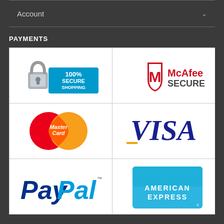Account
PAYMENTS
[Figure (logo): 100% Secure Shopping padlock badge]
[Figure (logo): McAfee SECURE logo]
[Figure (logo): MasterCard logo]
[Figure (logo): VISA logo]
[Figure (logo): PayPal logo]
[Figure (logo): American Express logo]